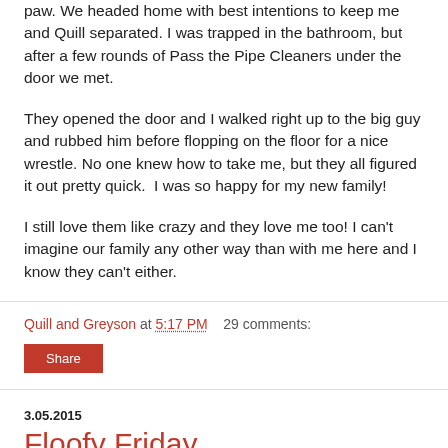paw. We headed home with best intentions to keep me and Quill separated. I was trapped in the bathroom, but after a few rounds of Pass the Pipe Cleaners under the door we met.
They opened the door and I walked right up to the big guy and rubbed him before flopping on the floor for a nice wrestle. No one knew how to take me, but they all figured it out pretty quick.  I was so happy for my new family!
I still love them like crazy and they love me too! I can't imagine our family any other way than with me here and I know they can't either.
Quill and Greyson at 5:17 PM    29 comments:
Share
3.05.2015
Floofy Friday